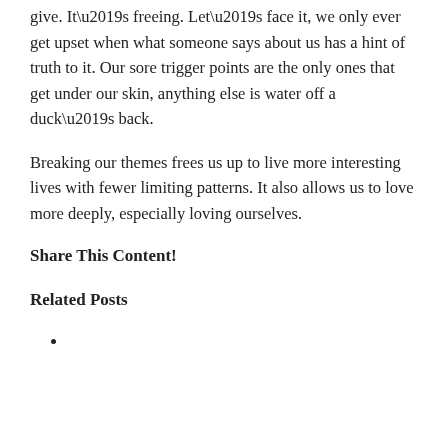give. It’s freeing. Let’s face it, we only ever get upset when what someone says about us has a hint of truth to it. Our sore trigger points are the only ones that get under our skin, anything else is water off a duck’s back.
Breaking our themes frees us up to live more interesting lives with fewer limiting patterns. It also allows us to love more deeply, especially loving ourselves.
Share This Content!
Related Posts